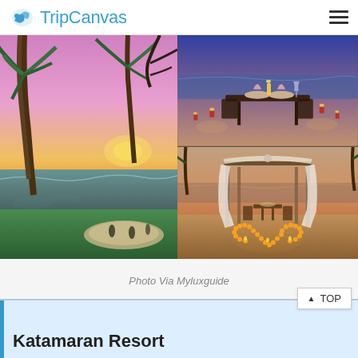TripCanvas
[Figure (photo): Tropical beach sunset with palm trees, golden and purple sky, ocean view with circular pool area and people in the foreground]
[Figure (photo): Romantic candlelit beach dinner table setup with folded napkins and ocean in background at dusk]
[Figure (photo): Romantic beach cabana with white curtains and heart-shaped candle arrangement on sand at sunset]
Photo Via Myluxguide
Katamaran Resort